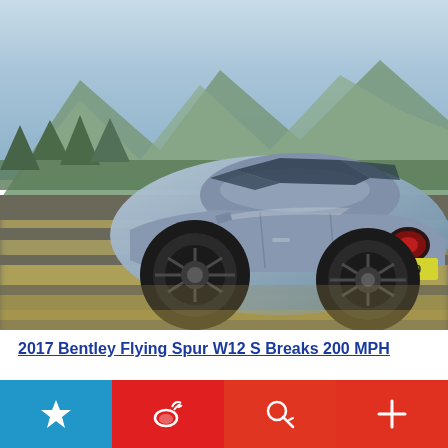[Figure (photo): Rear three-quarter view of a silver-blue 2017 Bentley Flying Spur W12 S luxury sedan driving on a road with mountains and trees in the background, motion blur on the road surface, yellow license plate partially visible reading '1800']
2017 Bentley Flying Spur W12 S Breaks 200 MPH
[Figure (infographic): Bottom navigation bar with four icon buttons: a star/bookmark icon on blue background, a Weibo share icon on red background, a search icon on red-orange background, and a plus/add icon on red background]